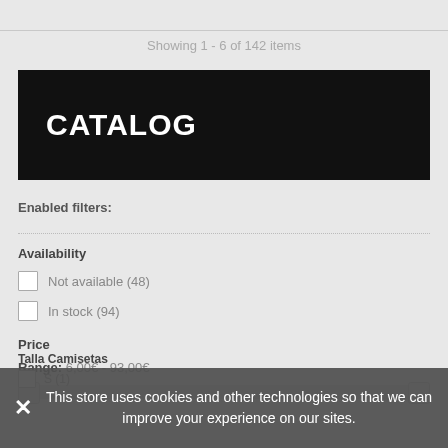Showing 1 - 6 of 142 items
CATALOG
Enabled filters:
Availability
Not available (48)
In stock (94)
Price
Range: 6,00€ - 93,00€
Talla Camisetas
S (1)
This store uses cookies and other technologies so that we can improve your experience on our sites.